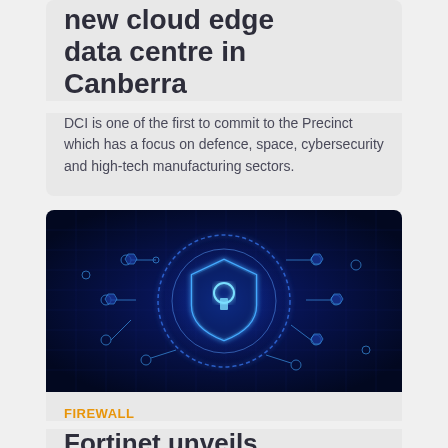new cloud edge data centre in Canberra
DCI is one of the first to commit to the Precinct which has a focus on defence, space, cybersecurity and high-tech manufacturing sectors.
[Figure (photo): Cybersecurity concept image showing a glowing blue digital shield with a keyhole icon surrounded by circuit patterns, network nodes and tech icons on a dark blue background.]
FIREWALL
Fortinet unveils compact firewall for branch and edge